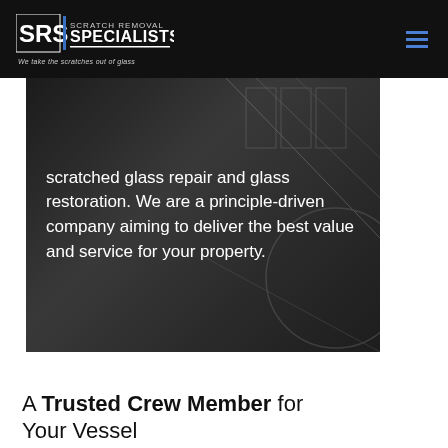SRS Scratch Removal Specialists — We take the scratches out of glass
[Figure (photo): Dark hero image of a glass building interior with text overlay reading: scratched glass repair and glass restoration. We are a principle-driven company aiming to deliver the best value and service for your property.]
scratched glass repair and glass restoration. We are a principle-driven company aiming to deliver the best value and service for your property.
A Trusted Crew Member for Your Vessel